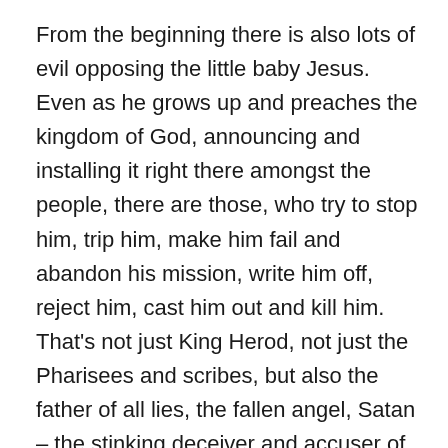From the beginning there is also lots of evil opposing the little baby Jesus. Even as he grows up and preaches the kingdom of God, announcing and installing it right there amongst the people, there are those, who try to stop him, trip him, make him fail and abandon his mission, write him off, reject him, cast him out and kill him. That's not just King Herod, not just the Pharisees and scribes, but also the father of all lies, the fallen angel, Satan – the stinking deceiver and accuser of all and everyone – especially those who come in the name of the triune God – Father, Son and Holy Spirit – to destroy the works of the devil. Conquer the dark forces of corruption, decay and destruction, promoting truth, love and hope instead. Our Lord Jesus Christ goes his way unperturbed. Even after 40 days and nights of fasting, he withstands the temptations of the willy foe and the angels serve him. No